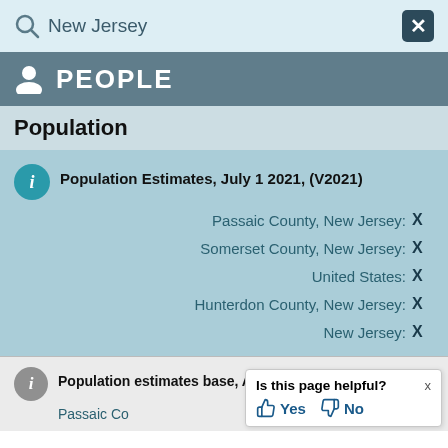New Jersey  X
PEOPLE
Population
Population Estimates, July 1 2021, (V2021)
Passaic County, New Jersey: X
Somerset County, New Jersey: X
United States: X
Hunterdon County, New Jersey: X
New Jersey: X
Population estimates base, Ap
Passaic Co